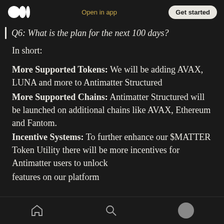Open in app | Get started
Q6: What is the plan for the next 100 days?
In short:
More Supported Tokens: We will be adding AVAX, LUNA and more to Antimatter Structured
More Supported Chains: Antimatter Structured will be launched on additional chains like AVAX, Ethereum and Fantom.
Incentive Systems: To further enhance our $MATTER Token Utility there will be more incentives for Antimatter users to unlock features on our platform